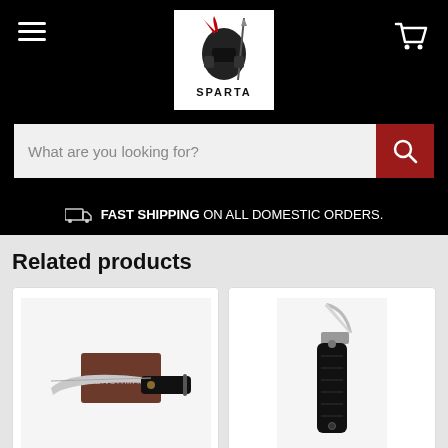[Figure (logo): Sparta brand logo — a Spartan helmet with red plume and spear on white background, with text SPARTA below]
What are you looking for?
FAST SHIPPING ON ALL DOMESTIC ORDERS.
Related products
[Figure (photo): Benchmade folding pocket knife with black handle shown next to its brown box packaging on white background]
[Figure (photo): Black folding knife with partially open blade shown on white background (partially cropped)]